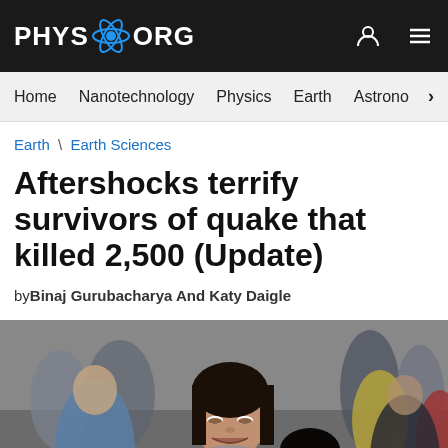PHYS.ORG
Home | Nanotechnology | Physics | Earth | Astronomy >
Earth \ Earth Sciences
Aftershocks terrify survivors of quake that killed 2,500 (Update)
byBinaj Gurubacharya And Katy Daigle
[Figure (photo): A woman crying and being comforted in a crowd, with blurred people in the background, depicting earthquake survivors in Nepal]